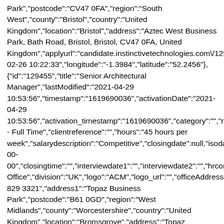Park","postcode":"CV47 0FA","region":"South West","county":"Bristol","country":"United Kingdom","location":"Bristol","address":"Aztec West Business Park, Bath Road, Bristol, Bristol, CV47 0FA, United Kingdom","applyurl":"candidate.instinctivetechnologies.com\/12945 02-26 10:22:33","longitude":"-1.3984","latitude":"52.2456"}, {"id":"129455","title":"Senior Architectural Manager","lastModified":"2021-04-29 10:53:56","timestamp":"1619690036","activationDate":"2021-04-29 10:53:56","activation_timestamp":"1619690036","category":"","role - Full Time","clientreference":"","hours":"45 hours per week","salarydescription":"Competitive","closingdate":null,"isodate' 00- 00","closingtime":"","interviewdate1":"","interviewdate2":"","hrcont Office","division":"UK","logo":"ACM","logo_url":"","officeAddress 829 3321","address1":"Topaz Business Park","postcode":"B61 0GD","region":"West Midlands","county":"Worcestershire","country":"United Kingdom","location":"Bromsgrove","address":"Topaz Business Park, Birmingham Road, Bromsgrove, Worcestershire, B61 0GD, United Kingdom","applyurl":"candidate.instinctivetechnologies.com\/12945 02-26 10:21:50","longitude":"-2.04863","latitude":"52.3571"}, {"id":"129454","title":"Forklift Truck